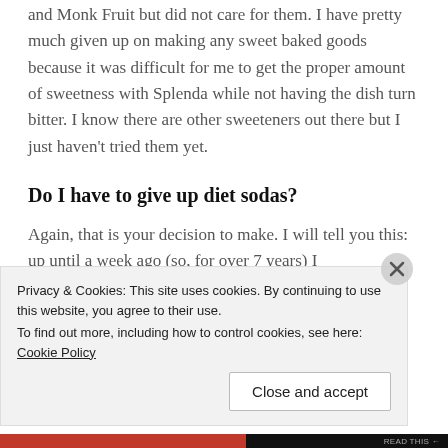and Monk Fruit but did not care for them. I have pretty much given up on making any sweet baked goods because it was difficult for me to get the proper amount of sweetness with Splenda while not having the dish turn bitter. I know there are other sweeteners out there but I just haven't tried them yet.
Do I have to give up diet sodas?
Again, that is your decision to make. I will tell you this: up until a week ago (so, for over 7 years) I
Privacy & Cookies: This site uses cookies. By continuing to use this website, you agree to their use.
To find out more, including how to control cookies, see here: Cookie Policy